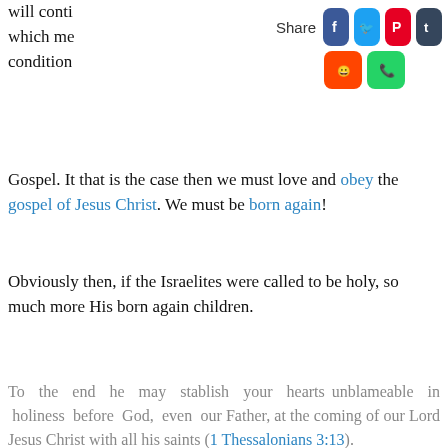will conti tiles", which me Thus the condition the Gospel. It that is the case then we must love and obey the gospel of Jesus Christ. We must be born again!
[Figure (other): Social media share bar with icons for Facebook, Twitter, Pinterest, Tumblr, Reddit, and WhatsApp]
Obviously then, if the Israelites were called to be holy, so much more His born again children.
To the end he may stablish your hearts unblameable in holiness before God, even our Father, at the coming of our Lord Jesus Christ with all his saints (1 Thessalonians 3:13).
[Figure (other): Quote image with sky background showing the text: To the end he may stablish your hearts unblameable in holiness before God, even our Father, at the coming of our Lord Jesus Christ with all his saints]